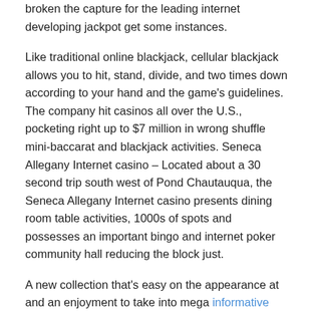broken the capture for the leading internet developing jackpot get some instances.
Like traditional online blackjack, cellular blackjack allows you to hit, stand, divide, and two times down according to your hand and the game's guidelines. The company hit casinos all over the U.S., pocketing right up to $7 million in wrong shuffle mini-baccarat and blackjack activities. Seneca Allegany Internet casino – Located about a 30 second trip south west of Pond Chautauqua, the Seneca Allegany Internet casino presents dining room table activities, 1000s of spots and possesses an important bingo and internet poker community hall reducing the block just.
A new collection that's easy on the appearance at and an enjoyment to take into mega informative post fly fishing reel video poker machines carry out Playable on iOS and Google android equipment as good as a Laptop or computer or Apple